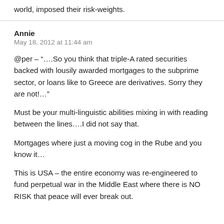world, imposed their risk-weights.
Annie
May 18, 2012 at 11:44 am
@per – “….So you think that triple-A rated securities backed with lousily awarded mortgages to the subprime sector, or loans like to Greece are derivatives. Sorry they are not!…”
Must be your multi-linguistic abilities mixing in with reading between the lines….I did not say that.
Mortgages where just a moving cog in the Rube and you know it…
This is USA – the entire economy was re-engineered to fund perpetual war in the Middle East where there is NO RISK that peace will ever break out.